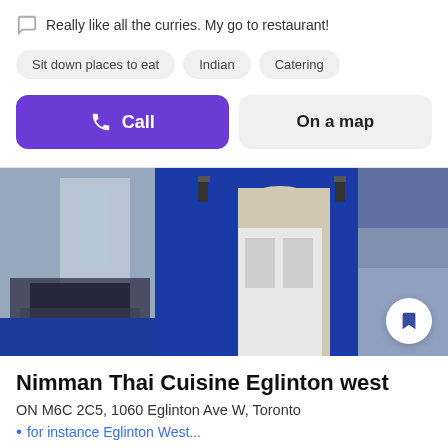Really like all the curries. My go to restaurant!
Sit down places to eat
Indian
Catering
Call
On a map
[Figure (photo): Exterior of Nimman Thai Cuisine Eglinton West restaurant showing blue facade with white door and street reflection]
Nimman Thai Cuisine Eglinton west
ON M6C 2C5, 1060 Eglinton Ave W, Toronto
• for instance Eglinton West...